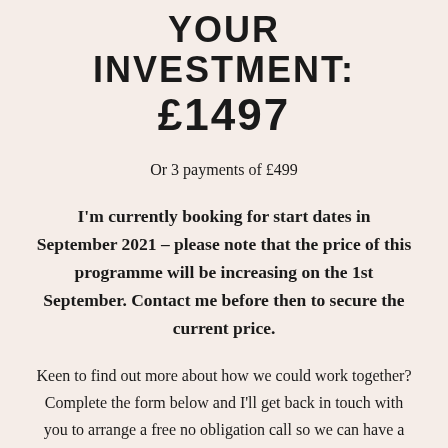YOUR INVESTMENT: £1497
Or 3 payments of £499
I'm currently booking for start dates in September 2021 – please note that the price of this programme will be increasing on the 1st September. Contact me before then to secure the current price.
Keen to find out more about how we could work together? Complete the form below and I'll get back in touch with you to arrange a free no obligation call so we can have a chat, check we're the right fit and see if this is the right investment